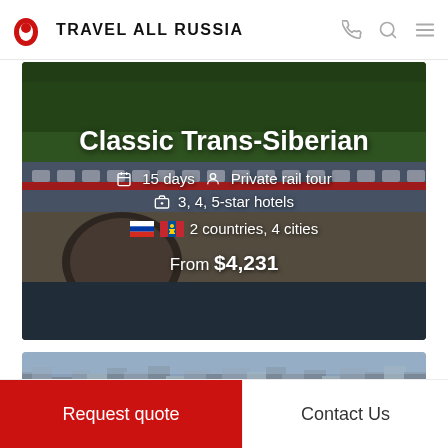TRAVEL ALL RUSSIA
[Figure (photo): Trans-Siberian train crossing a stone viaduct bridge over a river, surrounded by green forest]
Classic Trans-Siberian
15 days  Private rail tour
3, 4, 5-star hotels
2 countries, 4 cities
From $4,231
[Figure (photo): Aerial view of a Russian city with dense urban buildings]
Request quote
Contact Us